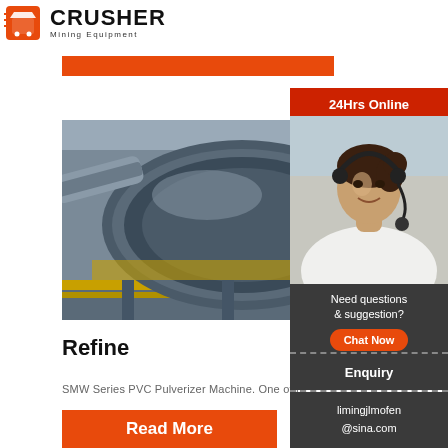[Figure (logo): Crusher Mining Equipment logo with red shopping bag icon and bold CRUSHER text]
[Figure (photo): Industrial ball mill / grinding machine in a factory setting with red gear wheel visible]
Powder Grinding Pulverizer Machine Sale -
Refine
SMW Series PVC Pulverizer Machine. One of th
[Figure (photo): Customer service operator woman wearing headset, with 24Hrs Online red banner]
Need questions & suggestion?
Chat Now
Enquiry
limingjlmofen@sina.com
Read More